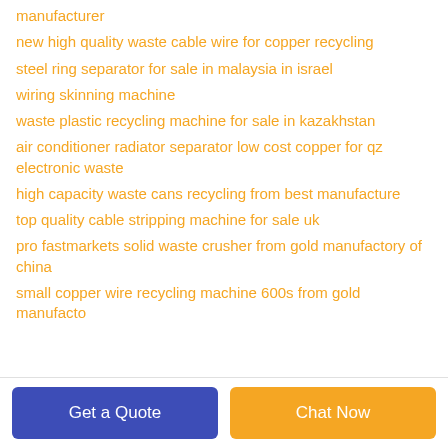manufacturer
new high quality waste cable wire for copper recycling
steel ring separator for sale in malaysia in israel
wiring skinning machine
waste plastic recycling machine for sale in kazakhstan
air conditioner radiator separator low cost copper for qz electronic waste
high capacity waste cans recycling from best manufacture
top quality cable stripping machine for sale uk
pro fastmarkets solid waste crusher from gold manufactory of china
small copper wire recycling machine 600s from gold manufacto
Get a Quote
Chat Now